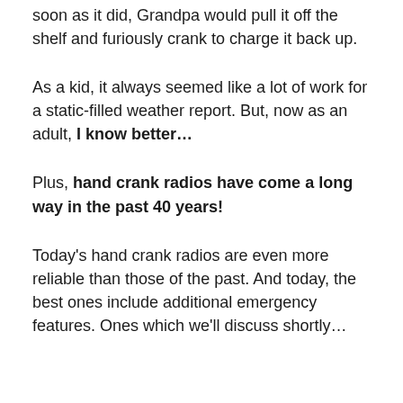soon as it did, Grandpa would pull it off the shelf and furiously crank to charge it back up.
As a kid, it always seemed like a lot of work for a static-filled weather report. But, now as an adult, I know better…
Plus, hand crank radios have come a long way in the past 40 years!
Today's hand crank radios are even more reliable than those of the past. And today, the best ones include additional emergency features. Ones which we'll discuss shortly…